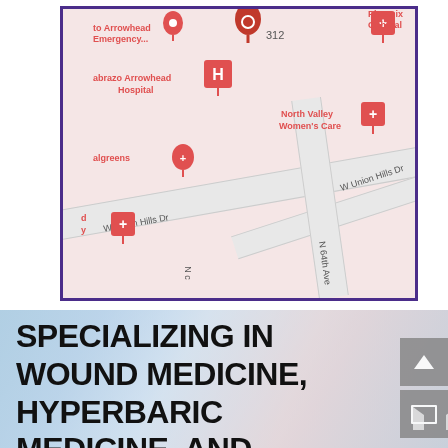[Figure (map): Google Maps screenshot showing the area near W Union Hills Dr and N 64th Ave in Phoenix/Arrowhead area. Visible landmarks include: 'to Arrowhead Emergency...', 'abrazo Arrowhead Hospital' (with H pin), '312' (red location pin), 'Phoenix Ophthal' (hospital pin), 'North Valley Women's Care' (hospital pin), 'algreens' (pharmacy pin), and roads W Union Hills Dr and N 64th Ave. Map is bordered with purple/indigo frame.]
SPECIALIZING IN WOUND MEDICINE, HYPERBARIC MEDICINE, AND INTERNAL MEDICINE